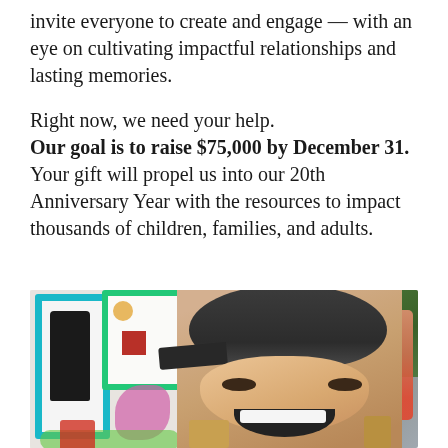invite everyone to create and engage — with an eye on cultivating impactful relationships and lasting memories.
Right now, we need your help. Our goal is to raise $75,000 by December 31. Your gift will propel us into our 20th Anniversary Year with the resources to impact thousands of children, families, and adults.
[Figure (photo): A smiling child wearing a backwards baseball cap, laughing excitedly in front of a colorful painted mural. Other children and adults visible in the background outdoors.]